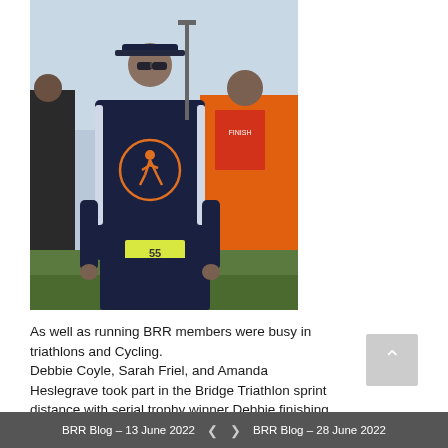[Figure (photo): A man wearing a navy Barking Road Runners sweatshirt with race bib number 55, standing outdoors at what appears to be a running event. He is wearing sunglasses and a cap, with other participants visible in the background.]
As well as running BRR members were busy in triathlons and Cycling.
Debbie Coyle, Sarah Friel, and Amanda Heslegrave took part in the Bridge Triathlon sprint distance with serial trophy winner Debbie finishing 1st lady and Amanda finishing 2nd in her category.
BRR Blog – 13 June 2022   <   >   BRR Blog – 28 June 2022